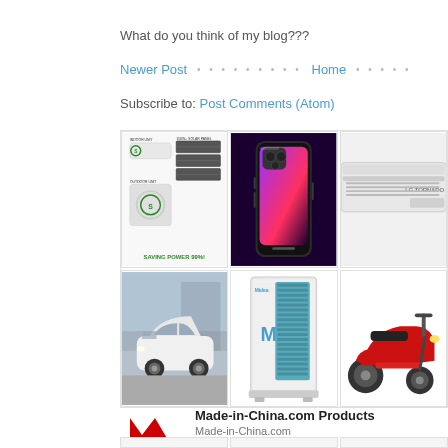What do you think of my blog???
Newer Post · · · · · · · · · · Home · · · · ·
Subscribe to: Post Comments (Atom)
[Figure (photo): Grid of product images including solar-powered air conditioner units, iPhone 13 Pro, wall-mounted air conditioner, small electric car, large HVAC unit, red electric scooter]
Made-in-China.com Products
Made-in-China.com
[Figure (photo): Partial bottom row of product images, cropped]